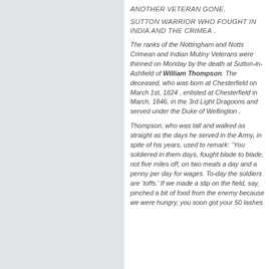ANOTHER VETERAN GONE.
SUTTON WARRIOR WHO FOUGHT IN INDIA AND THE CRIMEA .
The ranks of the Nottingham and Notts Crimean and Indian Mutiny Veterans were thinned on Monday by the death at Sutton-in-Ashfield of William Thompson. The deceased, who was born at Chesterfield on March 1st, 1824 , enlisted at Chesterfield in March, 1846, in the 3rd Light Dragoons and served under the Duke of Wellington .
Thompson, who was tall and walked as straight as the days he served in the Army, in spite of his years, used to remark: “You soldiered in them days, fought blade to blade, not five miles off, on two meals a day and a penny per day for wages. To-day the soldiers are ‘toffs.’ If we made a slip on the field, say, pinched a bit of food from the enemy because we were hungry, you soon got your 50 lashes